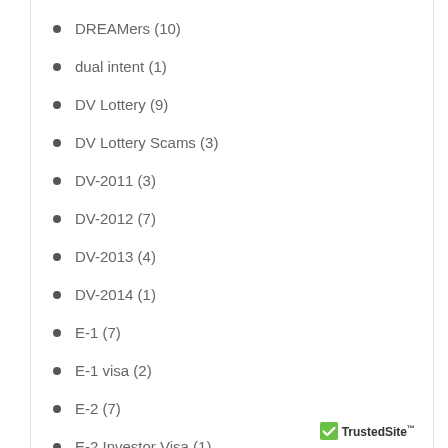DREAMers (10)
dual intent (1)
DV Lottery (9)
DV Lottery Scams (3)
DV-2011 (3)
DV-2012 (7)
DV-2013 (4)
DV-2014 (1)
E-1 (7)
E-1 visa (2)
E-2 (7)
E-2 Investor Visa (1)